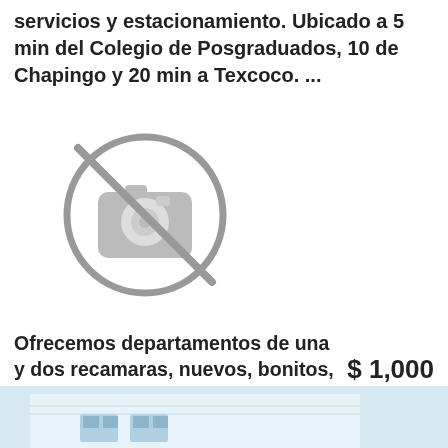servicios y estacionamiento. Ubicado a 5 min del Colegio de Posgraduados, 10 de Chapingo y 20 min a Texcoco. ...
[Figure (illustration): No photo available icon — circle with a camera icon crossed out, grey color]
Ofrecemos departamentos de una y dos recamaras, nuevos, bonitos, a precios accesibles, ambiente tranquilo, seguro, semi amueblados. Consulta nuestra Pagina: www.deptosboyeros.com...
$ 1,000
[Figure (photo): Partial photo of a building or apartment exterior, light blue/white tones, bottom of page]